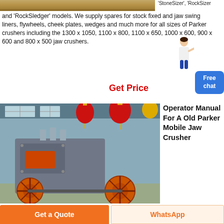[Figure (photo): Top sandy/gravel quarry or soil image, cropped]
'RockSizer 'RockSledger' models. We supply spares for stock fixed and jaw swing liners, flywheels, cheek plates, wedges and much more for all sizes of Parker crushers including the 1300 x 1050, 1100 x 800, 1100 x 650, 1000 x 600, 900 x 600 and 800 x 500 jaw crushers.
[Figure (infographic): Small person/character icon top right with Free chat blue button]
Get Price
[Figure (photo): Industrial mobile jaw crusher machine inside a factory with red Chinese lantern decorations]
Operator Manual For A Old Parker Mobile Jaw Crusher
Get a Quote
WhatsApp